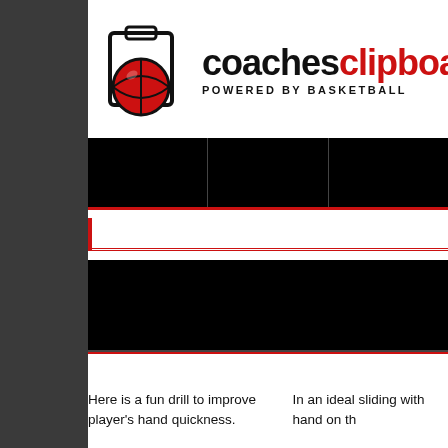[Figure (logo): CoachesClipboard logo with basketball icon and text 'coachesclipboard' in black and red, with 'POWERED BY BASKETBALL' subtitle]
[Figure (other): Black navigation bar with three cells divided by vertical lines, red bottom border]
[Figure (other): Section header area with red left-side indicator bar and red horizontal lines]
[Figure (other): Black content bar spanning full width]
Here is a fun drill to improve player's hand quickness.
In an ideal sliding with hand on th